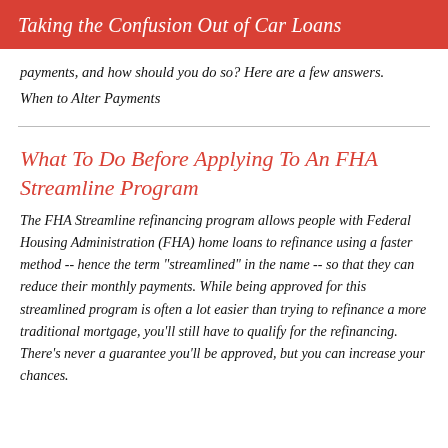Taking the Confusion Out of Car Loans
payments, and how should you do so? Here are a few answers. When to Alter Payments
What To Do Before Applying To An FHA Streamline Program
The FHA Streamline refinancing program allows people with Federal Housing Administration (FHA) home loans to refinance using a faster method -- hence the term "streamlined" in the name -- so that they can reduce their monthly payments. While being approved for this streamlined program is often a lot easier than trying to refinance a more traditional mortgage, you'll still have to qualify for the refinancing. There's never a guarantee you'll be approved, but you can increase your chances.